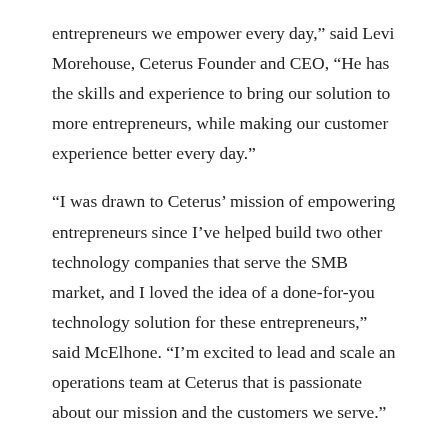entrepreneurs we empower every day,” said Levi Morehouse, Ceterus Founder and CEO, “He has the skills and experience to bring our solution to more entrepreneurs, while making our customer experience better every day.”
“I was drawn to Ceterus’ mission of empowering entrepreneurs since I’ve helped build two other technology companies that serve the SMB market, and I loved the idea of a done-for-you technology solution for these entrepreneurs,” said McElhone. “I’m excited to lead and scale an operations team at Ceterus that is passionate about our mission and the customers we serve.”
Former Chief Operating Officer, Derek Carter, is moving into the newly created role of Chief Solutions Officer. In this role, Carter will oversee automation and process enhancements within Ceterus’ done-for-you accounting solution. “In an